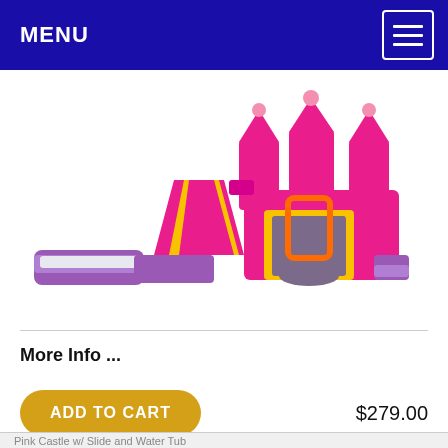MENU
[Figure (photo): Pink and purple inflatable bounce castle with slide and water tub attachment]
More Info ...
ADD TO CART   $279.00
Pink Castle w/ Slide and Water Tub